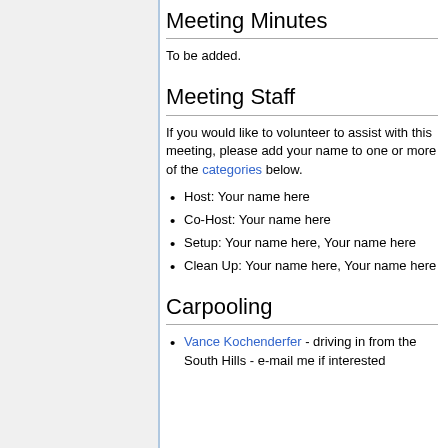Meeting Minutes
To be added.
Meeting Staff
If you would like to volunteer to assist with this meeting, please add your name to one or more of the categories below.
Host: Your name here
Co-Host: Your name here
Setup: Your name here, Your name here
Clean Up: Your name here, Your name here
Carpooling
Vance Kochenderfer - driving in from the South Hills - e-mail me if interested